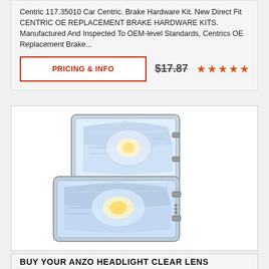Centric 117.35010 Car Centric. Brake Hardware Kit. New Direct Fit CENTRIC OE REPLACEMENT BRAKE HARDWARE KITS. Manufactured And Inspected To OEM-level Standards, Centrics OE Replacement Brake...
PRICING & INFO
$17.87
[Figure (photo): Two chrome headlight assemblies stacked, showing clear lens headlights for an automotive application.]
BUY YOUR ANZO HEADLIGHT CLEAR LENS